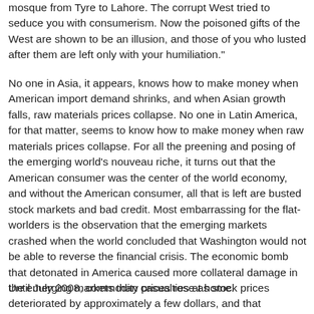mosque from Tyre to Lahore. The corrupt West tried to seduce you with consumerism. Now the poisoned gifts of the West are shown to be an illusion, and those of you who lusted after them are left only with your humiliation."
No one in Asia, it appears, knows how to make money when American import demand shrinks, and when Asian growth falls, raw materials prices collapse. No one in Latin America, for that matter, seems to know how to make money when raw materials prices collapse. For all the preening and posing of the emerging world's nouveau riche, it turns out that the American consumer was the center of the world economy, and without the American consumer, all that is left are busted stock markets and bad credit. Most embarrassing for the flat-worlders is the observation that the emerging markets crashed when the world concluded that Washington would not be able to reverse the financial crisis. The economic bomb that detonated in America caused more collateral damage in the emerging markets than casualties at home.
Until July 2008, commodity prices rose as stock prices deteriorated by approximately a few dollars, and that